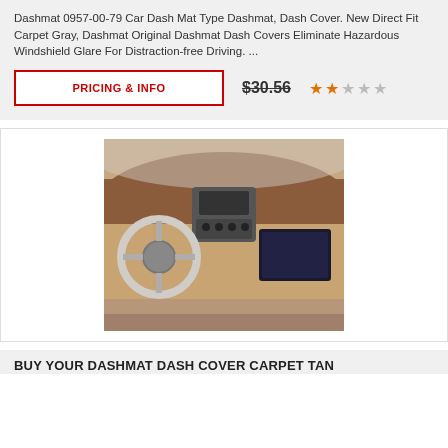Dashmat 0957-00-79 Car Dash Mat Type Dashmat, Dash Cover. New Direct Fit Carpet Gray, Dashmat Original Dashmat Dash Covers Eliminate Hazardous Windshield Glare For Distraction-free Driving. ...
PRICING & INFO
$30.56
[Figure (photo): Car interior dashboard view showing a brown/tan dashmat cover on the dashboard, with steering wheel visible on left and center console with navigation screen on right.]
BUY YOUR DASHMAT DASH COVER CARPET TAN